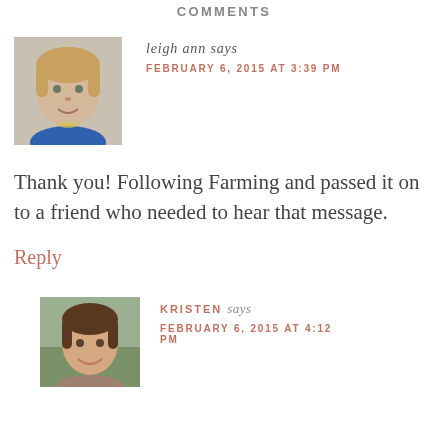COMMENTS
[Figure (photo): Avatar photo of leigh ann: a blonde woman in a blue floral top, smiling, indoors.]
leigh ann says
FEBRUARY 6, 2015 AT 3:39 PM
Thank you! Following Farming and passed it on to a friend who needed to hear that message.
Reply
[Figure (photo): Avatar photo of Kristen: a brunette woman smiling, outdoors.]
KRISTEN says
FEBRUARY 6, 2015 AT 4:12 PM